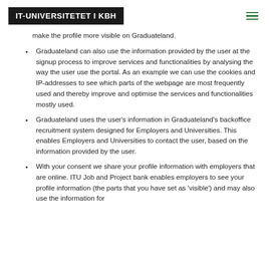IT-UNIVERSITETET I KBH
make the profile more visible on Graduateland.
Graduateland can also use the information provided by the user at the signup process to improve services and functionalities by analysing the way the user use the portal. As an example we can use the cookies and IP-addresses to see which parts of the webpage are most frequently used and thereby improve and optimise the services and functionalities mostly used.
Graduateland uses the user's information in Graduateland's backoffice recruitment system designed for Employers and Universities. This enables Employers and Universities to contact the user, based on the information provided by the user.
With your consent we share your profile information with employers that are online. ITU Job and Project bank enables employers to see your profile information (the parts that you have set as 'visible') and may also use the information for